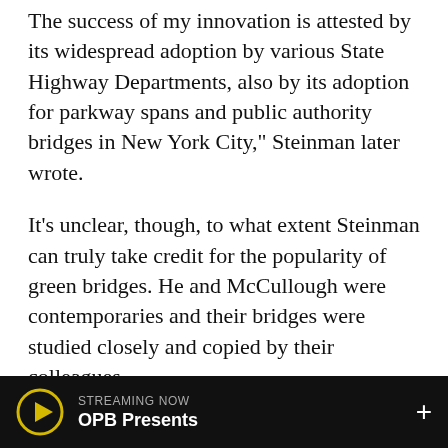The success of my innovation is attested by its widespread adoption by various State Highway Departments, also by its adoption for parkway spans and public authority bridges in New York City," Steinman later wrote.
It's unclear, though, to what extent Steinman can truly take credit for the popularity of green bridges. He and McCullough were contemporaries and their bridges were studied closely and copied by their colleagues.
And it's McCullough's color that reigns supreme today: Technically, the paint is "federal standard 595 color 24272," but nobody calls it that. From New Hampshire to Washington and even Canada, uncoated steel structures are painted ODOT
STREAMING NOW OPB Presents